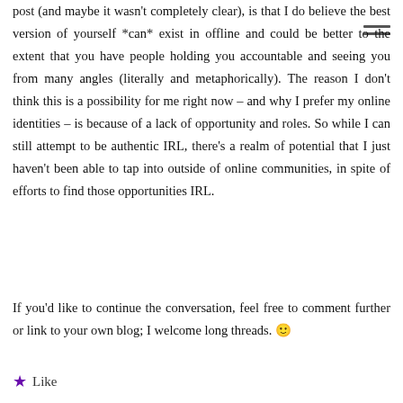post (and maybe it wasn't completely clear), is that I do believe the best version of yourself *can* exist in offline and could be better to the extent that you have people holding you accountable and seeing you from many angles (literally and metaphorically). The reason I don't think this is a possibility for me right now – and why I prefer my online identities – is because of a lack of opportunity and roles. So while I can still attempt to be authentic IRL, there's a realm of potential that I just haven't been able to tap into outside of online communities, in spite of efforts to find those opportunities IRL.
If you'd like to continue the conversation, feel free to comment further or link to your own blog; I welcome long threads. 🙂
★ Like